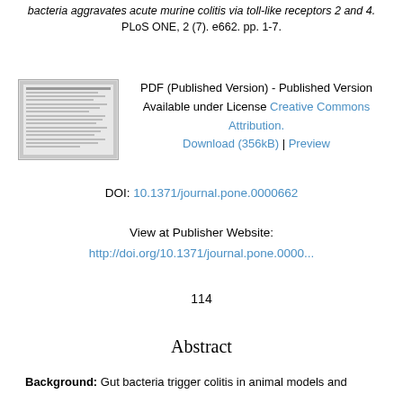bacteria aggravates acute murine colitis via toll-like receptors 2 and 4. PLoS ONE, 2 (7). e662. pp. 1-7.
[Figure (other): Thumbnail image of a published PDF document page]
PDF (Published Version) - Published Version
Available under License Creative Commons Attribution.
Download (356kB) | Preview
DOI: 10.1371/journal.pone.0000662
View at Publisher Website:
http://doi.org/10.1371/journal.pone.0000...
114
Abstract
Background: Gut bacteria trigger colitis in animal models and